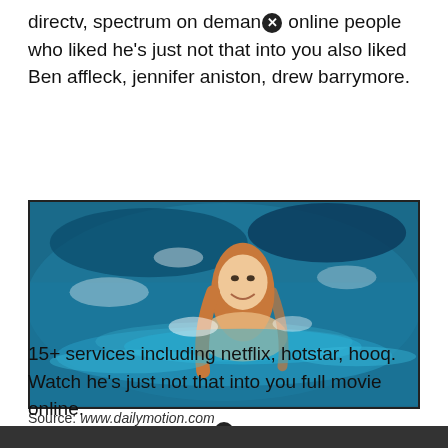directv, spectrum on demand online people who liked he's just not that into you also liked Ben affleck, jennifer aniston, drew barrymore.
[Figure (photo): A woman swimming in a pool, smiling, from the movie 'He's Just Not That Into You']
Source: www.dailymotion.com
15+ services including netflix, hotstar, hooq. Watch he's just not that into you full movie online.